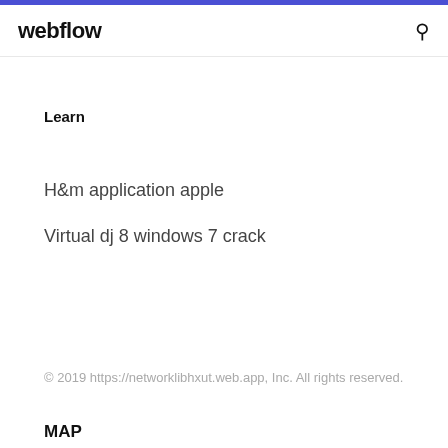webflow
Learn
H&m application apple
Virtual dj 8 windows 7 crack
© 2019 https://networklibhxut.web.app, Inc. All rights reserved.
MAP